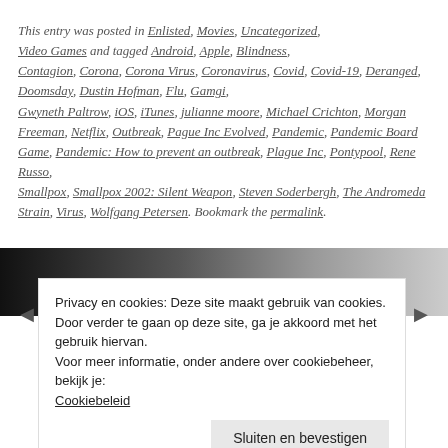This entry was posted in Enlisted, Movies, Uncategorized, Video Games and tagged Android, Apple, Blindness, Contagion, Corona, Corona Virus, Coronavirus, Covid, Covid-19, Deranged, Doomsday, Dustin Hofman, Flu, Gamgi, Gwyneth Paltrow, iOS, iTunes, julianne moore, Michael Crichton, Morgan Freeman, Netflix, Outbreak, Pague Inc Evolved, Pandemic, Pandemic Board Game, Pandemic: How to prevent an outbreak, Plague Inc, Pontypool, Rene Russo, Smallpox, Smallpox 2002: Silent Weapon, Steven Soderbergh, The Andromeda Strain, Virus, Wolfgang Petersen. Bookmark the permalink.
[Figure (photo): Dark gradient band from black on the left to light grey on the right, used as background behind a cookie consent dialog.]
Privacy en cookies: Deze site maakt gebruik van cookies. Door verder te gaan op deze site, ga je akkoord met het gebruik hiervan. Voor meer informatie, onder andere over cookiebeheer, bekijk je: Cookiebeleid
Sluiten en bevestigen
GEEF EEN ANTWOORD